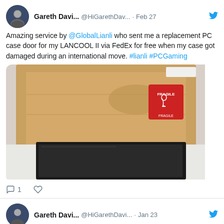[Figure (screenshot): Tweet by Gareth Davi... (@HiGarethDav...) dated Feb 27 with text about amazing service by @GlobalLianli, a photo of an open cardboard box containing a PC case panel, and action icons showing 1 reply.]
[Figure (screenshot): Tweet by Gareth Davi... (@HiGarethDavi...) dated Jan 23 about CFRipper - CloudFormation Security & Audit Tool with a link to darknet.org.uk/2022/01/cfripp... via @THEdarknet]